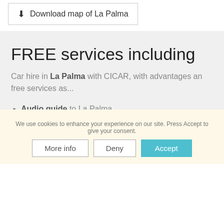⬇ Download map of La Palma
FREE services including
Car hire in La Palma with CICAR, with advantages an free services as...
Audio guide to La Palma
Full risk insurance with no excess
Unlimited mileage
Additional driver free
We use cookies to enhance your experience on our site. Press Accept to give your consent.
More info | Deny | Accept